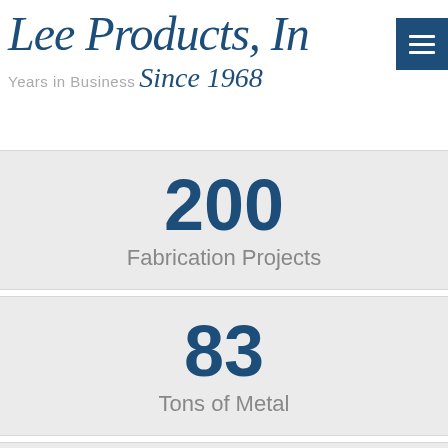Lee Products, Inc. Years in Business Since 1968
200
Fabrication Projects
83
Tons of Metal
2
Fabrication Machines